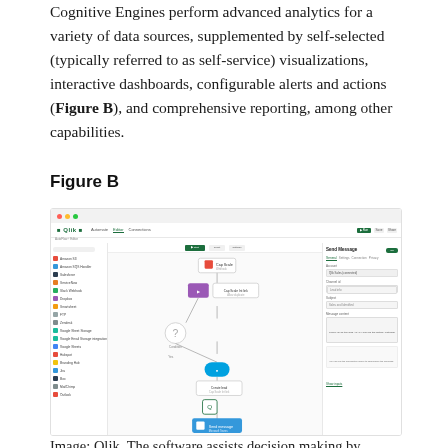Cognitive Engines perform advanced analytics for a variety of data sources, supplemented by self-selected (typically referred to as self-service) visualizations, interactive dashboards, configurable alerts and actions (Figure B), and comprehensive reporting, among other capabilities.
Figure B
[Figure (screenshot): Screenshot of Qlik software interface showing an automation workflow builder with a left sidebar of connectors/actions, a central canvas with workflow nodes connected by lines including Send Message and other action blocks, and a right configuration panel for Send Message with fields for Account, Channel ID, Subject, and Message.]
Image: Qlik. The software assists decision making by surfacing important insights and enabling